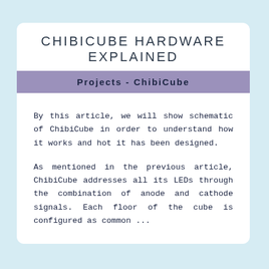CHIBICUBE HARDWARE EXPLAINED
Projects - ChibiCube
By this article, we will show schematic of ChibiCube in order to understand how it works and hot it has been designed.
As mentioned in the previous article, ChibiCube addresses all its LEDs through the combination of anode and cathode signals. Each floor of the cube is configured as common ...